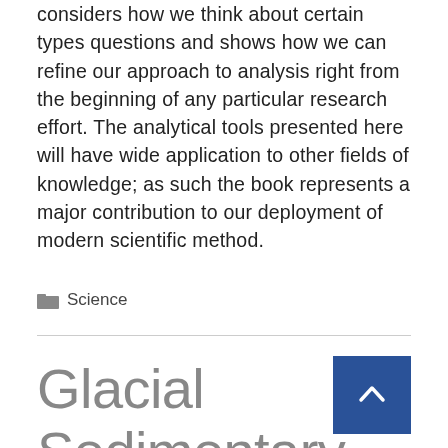considers how we think about certain types questions and shows how we can refine our approach to analysis right from the beginning of any particular research effort. The analytical tools presented here will have wide application to other fields of knowledge; as such the book represents a major contribution to our deployment of modern scientific method.
Science
Glacial Sedimentary